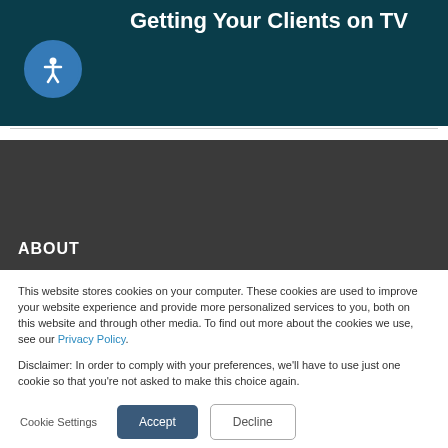[Figure (screenshot): Dark teal banner with title 'Getting Your Clients on TV' and accessibility icon (person in circle) on the left]
Getting Your Clients on TV
ABOUT
This website stores cookies on your computer. These cookies are used to improve your website experience and provide more personalized services to you, both on this website and through other media. To find out more about the cookies we use, see our Privacy Policy.
Disclaimer: In order to comply with your preferences, we'll have to use just one cookie so that you're not asked to make this choice again.
Cookie Settings  Accept  Decline